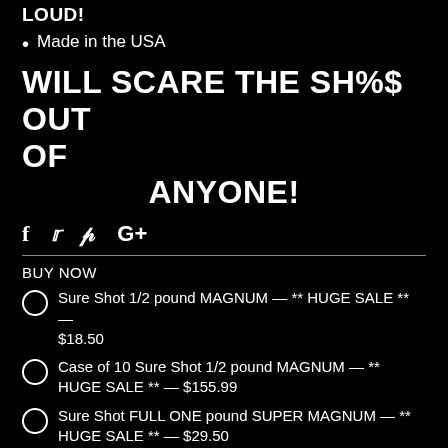LOUD!
Made in the USA
WILL SCARE THE SH%$ OUT OF

ANYONE!
[Figure (other): Social media share icons: Facebook (f), Twitter (bird), Pinterest (P), Google+ (G+)]
BUY NOW
Sure Shot 1/2 pound MAGNUM — ** HUGE SALE ** — $18.50
Case of 10 Sure Shot 1/2 pound MAGNUM — ** HUGE SALE ** — $155.99
Sure Shot FULL ONE pound SUPER MAGNUM — ** HUGE SALE ** — $29.50
Quantity